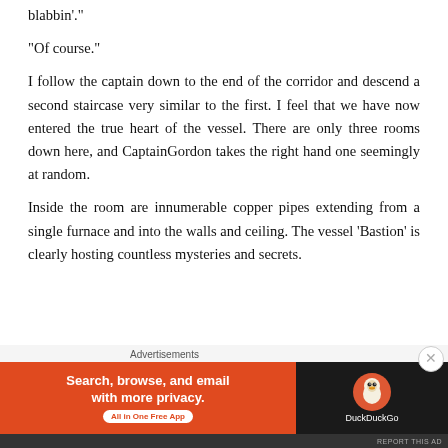blabbin'."
“Of course.”
I follow the captain down to the end of the corridor and descend a second staircase very similar to the first. I feel that we have now entered the true heart of the vessel. There are only three rooms down here, and CaptainGordon takes the right hand one seemingly at random.
Inside the room are innumerable copper pipes extending from a single furnace and into the walls and ceiling. The vessel ‘Bastion’ is clearly hosting countless mysteries and secrets.
[Figure (infographic): DuckDuckGo advertisement banner with orange background on left side reading 'Search, browse, and email with more privacy. All in One Free App' and DuckDuckGo logo on dark background on right side. Labeled 'Advertisements' above.]